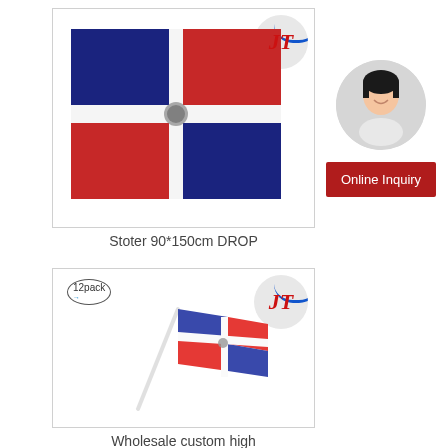[Figure (photo): Dominican Republic flag product image (90x150cm) with JT logo in corner]
Stoter 90*150cm DROP
[Figure (photo): Person (Asian woman smiling) in circular avatar frame]
Online Inquiry
[Figure (photo): Dominican Republic small hand flag 12-pack product with JT logo]
Wholesale custom high